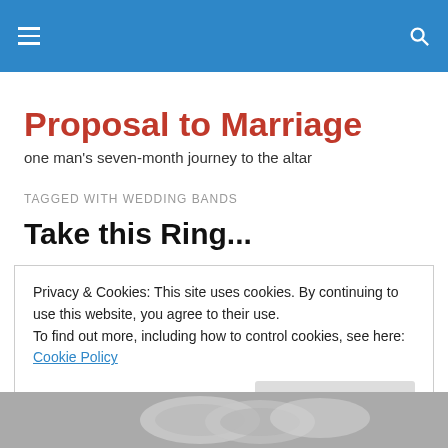Proposal to Marriage
one man's seven-month journey to the altar
TAGGED WITH WEDDING BANDS
Take this Ring...
Privacy & Cookies: This site uses cookies. By continuing to use this website, you agree to their use.
To find out more, including how to control cookies, see here: Cookie Policy
Close and accept
[Figure (photo): Photo of wedding rings at the bottom of the page]